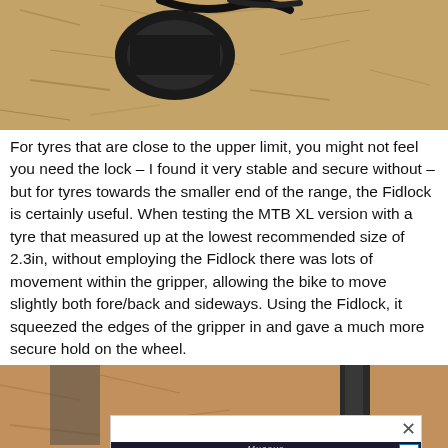[Figure (photo): Close-up photo of a black bicycle tyre gripper/mount component on a wooden OSB board surface, with a black cable or strap visible at top.]
For tyres that are close to the upper limit, you might not feel you need the lock – I found it very stable and secure without – but for tyres towards the smaller end of the range, the Fidlock is certainly useful. When testing the MTB XL version with a tyre that measured up at the lowest recommended size of 2.3in, without employing the Fidlock there was lots of movement within the gripper, allowing the bike to move slightly both fore/back and sideways. Using the Fidlock, it squeezed the edges of the gripper in and gave a much more secure hold on the wheel.
[Figure (photo): Photo of a bicycle light product on wooden background, partially obscured by an advertisement overlay.]
[Figure (advertisement): Advertisement overlay showing 'Ride More. Enjoy More' text with a red bicycle light and orange accessory on dark background, with brand name 'Mucove' at top.]